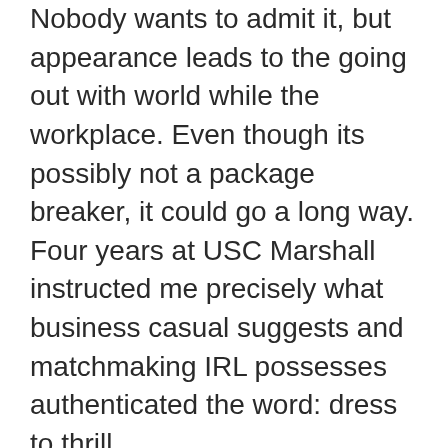Nobody wants to admit it, but appearance leads to the going out with world while the workplace. Even though its possibly not a package breaker, it could go a long way. Four years at USC Marshall instructed me precisely what business casual suggests and matchmaking IRL possesses authenticated the word: dress to thrill.
The fact is, Ive discovered my personal go-to date costumes and favored efforts outfits frequently coincide. You merely cant go awry with particular basics like a lovely blazer, complementing top, and attached pants. Even though aesthetics states very little about a persons skills/personality, it is also correct that the more comfortable and beneficial you peer, appropriate you